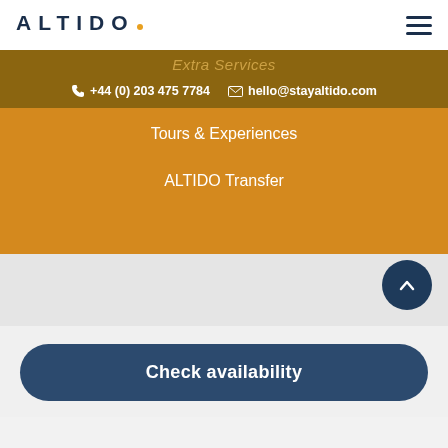[Figure (logo): ALTIDO logo with orange dot after the O, in dark navy blue uppercase letters on white background]
Extra Services
+44 (0) 203 475 7784   hello@stayaltido.com
Tours & Experiences
ALTIDO Transfer
[Figure (other): Back to top arrow button, dark navy circle with chevron pointing up]
Check availability